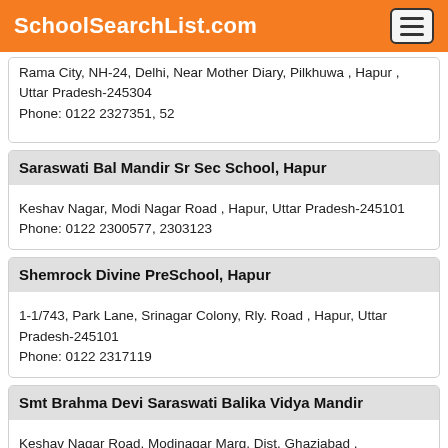SchoolSearchList.com
Rama City, NH-24, Delhi, Near Mother Diary, Pilkhuwa , Hapur , Uttar Pradesh-245304
Phone: 0122 2327351, 52
Saraswati Bal Mandir Sr Sec School, Hapur
Keshav Nagar, Modi Nagar Road , Hapur, Uttar Pradesh-245101
Phone: 0122 2300577, 2303123
Shemrock Divine PreSchool, Hapur
1-1/743, Park Lane, Srinagar Colony, Rly. Road , Hapur, Uttar Pradesh-245101
Phone: 0122 2317119
Smt Brahma Devi Saraswati Balika Vidya Mandir
Keshav Nagar Road, Modinagar Marg, Dist. Ghaziabad ,